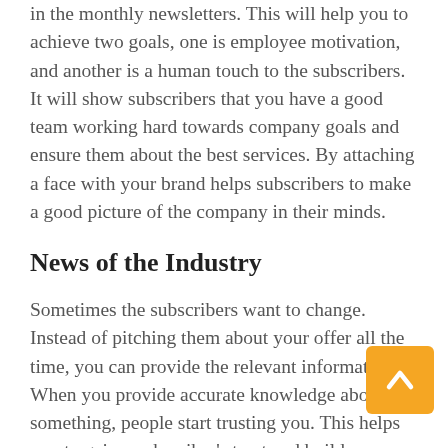in the monthly newsletters. This will help you to achieve two goals, one is employee motivation, and another is a human touch to the subscribers. It will show subscribers that you have a good team working hard towards company goals and ensure them about the best services. By attaching a face with your brand helps subscribers to make a good picture of the company in their minds.
News of the Industry
Sometimes the subscribers want to change. Instead of pitching them about your offer all the time, you can provide the relevant information. When you provide accurate knowledge about something, people start trusting you. This helps you to gain a subscriber's trust and build your credibility. You will receive what you provide, so educate your subscribers, and they will come to you because they will know about your expertise in that field.